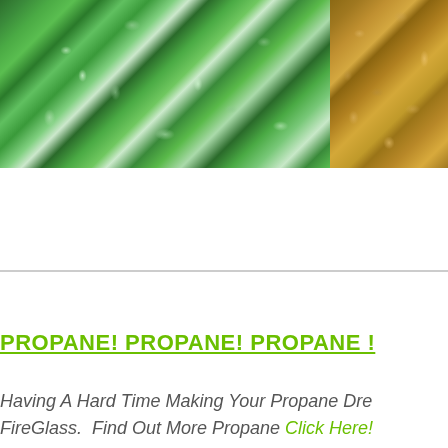[Figure (photo): Close-up photo of green fire glass pieces on the left and golden/amber fire glass pieces partially visible on the right]
PROPANE! PROPANE! PROPANE !
Having A Hard Time Making Your Propane Dre... FireGlass.  Find Out More Propane Click Here!